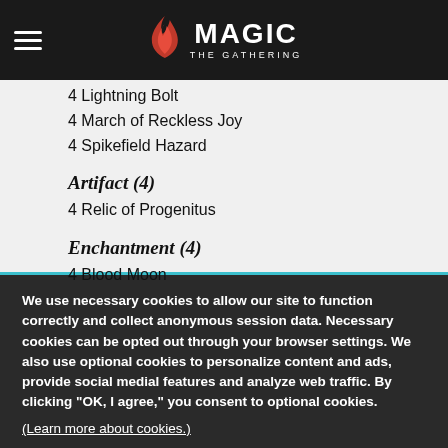Magic: The Gathering
4 Lightning Bolt
4 March of Reckless Joy
4 Spikefield Hazard
Artifact (4)
4 Relic of Progenitus
Enchantment (4)
4 Blood Moon
We use necessary cookies to allow our site to function correctly and collect anonymous session data. Necessary cookies can be opted out through your browser settings. We also use optional cookies to personalize content and ads, provide social medial features and analyze web traffic. By clicking “OK, I agree,” you consent to optional cookies.
(Learn more about cookies.)